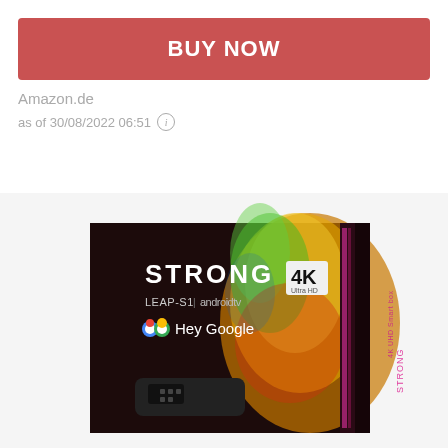BUY NOW
Amazon.de
as of 30/08/2022 06:51
[Figure (photo): Product box of STRONG LEAP-S1 Android TV 4K Ultra HD Smart Box with remote control, featuring Hey Google branding and colorful splash design on the packaging.]